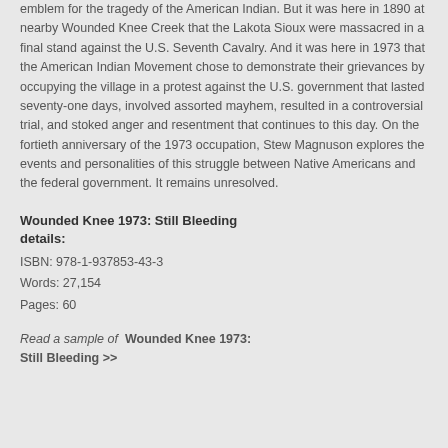emblem for the tragedy of the American Indian. But it was here in 1890 at nearby Wounded Knee Creek that the Lakota Sioux were massacred in a final stand against the U.S. Seventh Cavalry. And it was here in 1973 that the American Indian Movement chose to demonstrate their grievances by occupying the village in a protest against the U.S. government that lasted seventy-one days, involved assorted mayhem, resulted in a controversial trial, and stoked anger and resentment that continues to this day. On the fortieth anniversary of the 1973 occupation, Stew Magnuson explores the events and personalities of this struggle between Native Americans and the federal government. It remains unresolved.
Wounded Knee 1973: Still Bleeding details:
ISBN: 978-1-937853-43-3
Words: 27,154
Pages: 60
Read a sample of Wounded Knee 1973: Still Bleeding >>